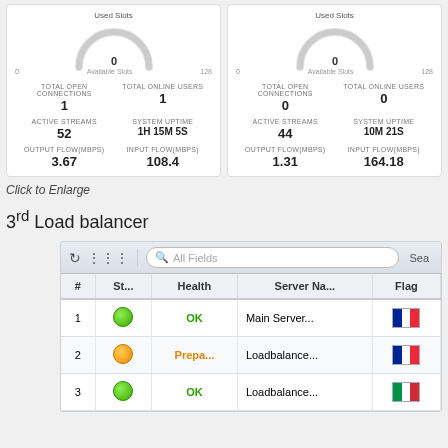[Figure (screenshot): Two dashboard cards showing server stats: Card 1 - Used Slots gauge at 0, Total Open Connections: 1, Total Online Users: 1, Active Streams: 52, System Uptime: 1H 15M 5S, Output Flow: 3.67, Input Flow: 108.4. Card 2 - Used Slots gauge at 0, Total Open Connections: 0, Total Online Users: 0, Active Streams: 44, System Uptime: 10M 21S, Output Flow: 1.31, Input Flow: 164.18.]
Click to Enlarge
3rd Load balancer
| # | St... | Health | Server Na... | Flag |
| --- | --- | --- | --- | --- |
| 1 | ● | OK | Main Server... | 🇫🇷 |
| 2 | ● | Prepa... | Loadbalance... | 🇫🇷 |
| 3 | ● | OK | Loadbalance... | 🇮🇹 |